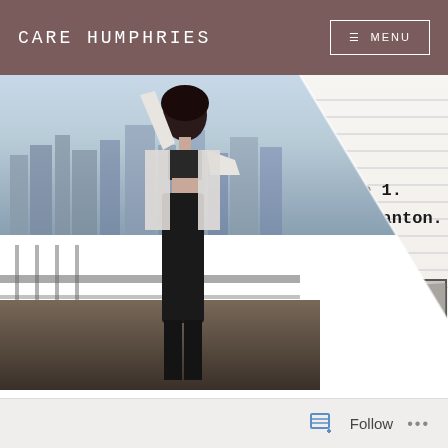CARE HUMPHRIES
≡  MENU
[Figure (photo): Composite image: Left half shows a woman with black hair in black outfit posing on a balcony with city skyline behind her. Right half shows a lined notebook paper background with text 'episode 1. astrid tanton.' in typewriter font, and a podcast cover thumbnail in the bottom right corner reading 'artists you should' in pink handwritten text.]
Follow  ...